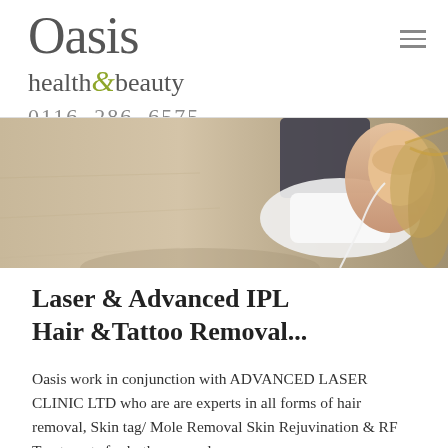Oasis health & beauty
0116 286 6575
[Figure (photo): Woman lying down outdoors on pavement, wearing white sports bra with earphones, sunny setting]
Laser & Advanced IPL Hair &Tattoo Removal...
Oasis work in conjunction with ADVANCED LASER CLINIC LTD who are are experts in all forms of hair removal, Skin tag/ Mole Removal Skin Rejuvination & RF Treatments for both men and women.